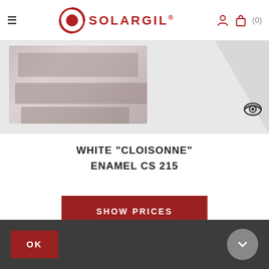[Figure (logo): Solargil logo with red circular swirl icon and SOLARGIL text with registered trademark symbol]
[Figure (photo): Product image of White Cloisonne Enamel CS 215, shown as a blurred/watermarked product photo with an eye icon in the bottom right corner indicating a preview]
WHITE "CLOISONNE" ENAMEL CS 215
SHOW PRICES
OK